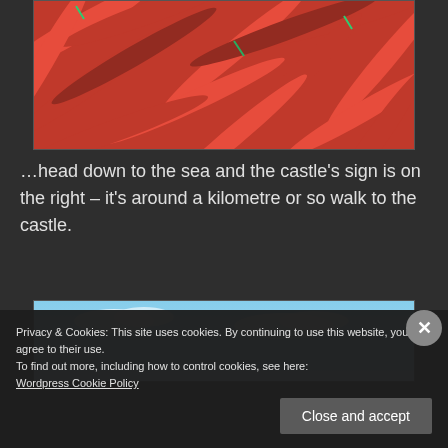[Figure (photo): Close-up photograph of a large pile of red chilli peppers]
…head down to the sea and the castle's sign is on the right – it's around a kilometre or so walk to the castle.
[Figure (photo): Photograph showing a blue sky, partial view of a castle or coastal scene]
Privacy & Cookies: This site uses cookies. By continuing to use this website, you agree to their use.
To find out more, including how to control cookies, see here: Wordpress Cookie Policy
Close and accept